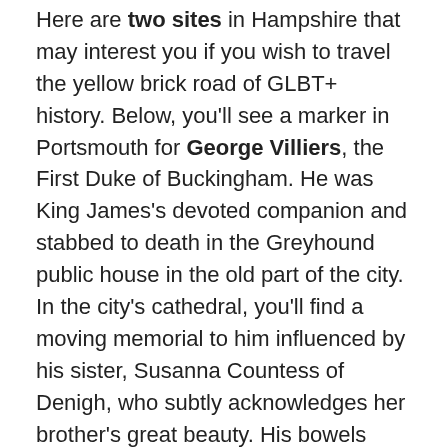Here are two sites in Hampshire that may interest you if you wish to travel the yellow brick road of GLBT+ history. Below, you'll see a marker in Portsmouth for George Villiers, the First Duke of Buckingham. He was King James's devoted companion and stabbed to death in the Greyhound public house in the old part of the city. In the city's cathedral, you'll find a moving memorial to him influenced by his sister, Susanna Countess of Denigh, who subtly acknowledges her brother's great beauty. His bowels were buried in Portsmouth, beside his sister, but his body buried in Westminster Cathedral. Apparently you can be in two places in once. I don't mean to make light; another victim of homophobia, King Edward II, died after he had a hot fire-poker stuck up his arse. The intense suffering to which gay people have been subjected is further testament to the angry ambivalence they arouse in their attackers. When victimized, we unleash the animal